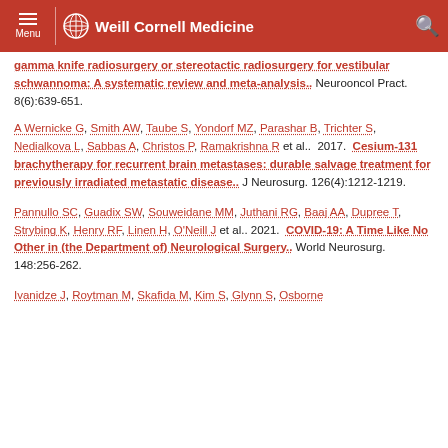Menu | Weill Cornell Medicine
gamma knife radiosurgery or stereotactic radiosurgery for vestibular schwannoma: A systematic review and meta-analysis.. Neurooncol Pract. 8(6):639-651.
A Wernicke G, Smith AW, Taube S, Yondorf MZ, Parashar B, Trichter S, Nedialkova L, Sabbas A, Christos P, Ramakrishna R et al.. 2017. Cesium-131 brachytherapy for recurrent brain metastases: durable salvage treatment for previously irradiated metastatic disease.. J Neurosurg. 126(4):1212-1219.
Pannullo SC, Guadix SW, Souweidane MM, Juthani RG, Baaj AA, Dupree T, Strybing K, Henry RF, Linen H, O'Neill J et al.. 2021. COVID-19: A Time Like No Other in (the Department of) Neurological Surgery.. World Neurosurg. 148:256-262.
Ivanidze J, Roytman M, Skafida M, Kim S, Glynn S, Osborne